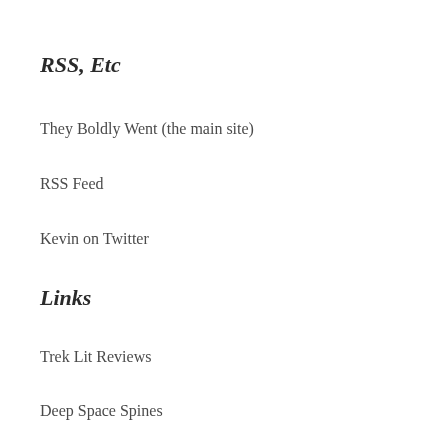RSS, Etc
They Boldly Went (the main site)
RSS Feed
Kevin on Twitter
Links
Trek Lit Reviews
Deep Space Spines
Books at Trekcore